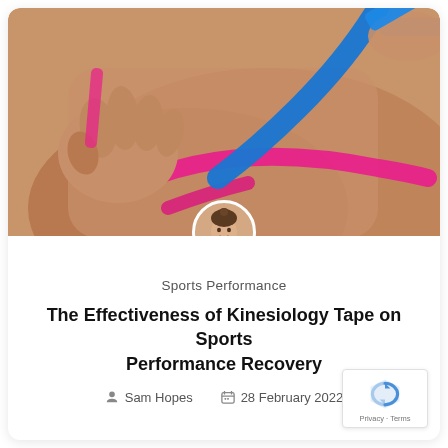[Figure (photo): Close-up photo of a person's shoulder/back with pink and blue kinesiology tape being applied by a practitioner's hands. A small circular avatar of a woman with hair in a bun is overlaid at the bottom center of the photo.]
Sports Performance
The Effectiveness of Kinesiology Tape on Sports Performance Recovery
Sam Hopes   28 February 2022